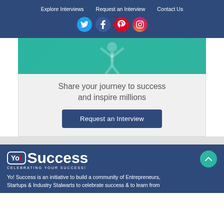Explore Interviews | Request an Interview | Contact Us
[Figure (infographic): Social media icons: Twitter (blue circle), Facebook (dark blue circle), Pinterest (red circle), Instagram (gradient circle)]
[Figure (photo): Hero image with teal/green overlay showing a person with arms raised in success pose]
Share your journey to success and inspire millions
Request an Interview
[Figure (logo): Yo! Success logo with tagline CELEBRATING YOUR SUCCESS!]
Yo! Success is an initiative to build a community of Entrepreneurs, Startups & Industry Stalwarts to celebrate success & to learn from